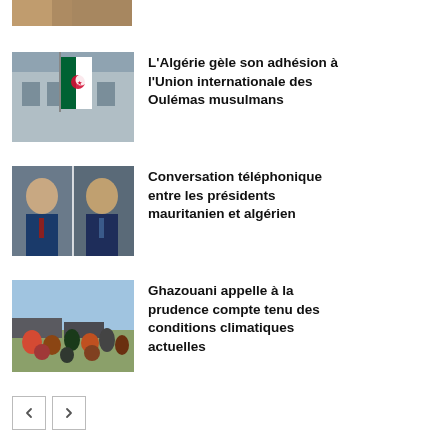[Figure (photo): Partial view of an image at the top of the page (cropped)]
[Figure (photo): Algerian flag in front of a building]
L'Algérie gèle son adhésion à l'Union internationale des Oulémas musulmans
[Figure (photo): Two presidents side by side — Mauritanian and Algerian presidents]
Conversation téléphonique entre les présidents mauritanien et algérien
[Figure (photo): Crowd of people gathered outdoors near trucks]
Ghazouani appelle à la prudence compte tenu des conditions climatiques actuelles